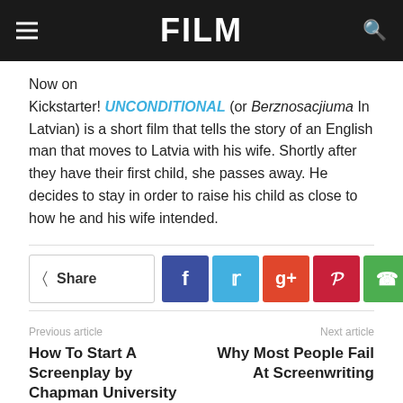FILM
Now on Kickstarter! UNCONDITIONAL (or Berznosacjiuma In Latvian) is a short film that tells the story of an English man that moves to Latvia with his wife. Shortly after they have their first child, she passes away. He decides to stay in order to raise his child as close to how he and his wife intended.
Share | Facebook | Twitter | Google+ | Pinterest | WhatsApp | +
Previous article
How To Start A Screenplay by Chapman University Professor
Next article
Why Most People Fail At Screenwriting